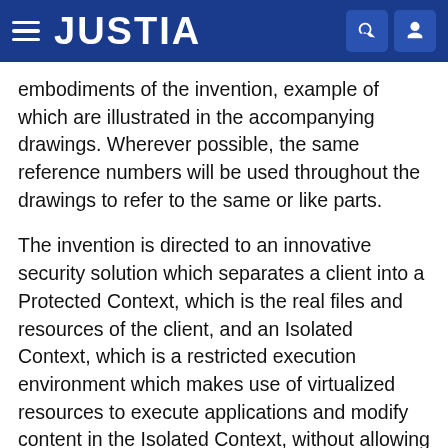JUSTIA
embodiments of the invention, example of which are illustrated in the accompanying drawings. Wherever possible, the same reference numbers will be used throughout the drawings to refer to the same or like parts.
The invention is directed to an innovative security solution which separates a client into a Protected Context, which is the real files and resources of the client, and an Isolated Context, which is a restricted execution environment which makes use of virtualized resources to execute applications and modify content in the Isolated Context, without allowing explicit access to the resources in the Protected Context.
FIG. 1 shows a conceptual chart of how this is implemented. The client 10 is part of the enterprise network 20...